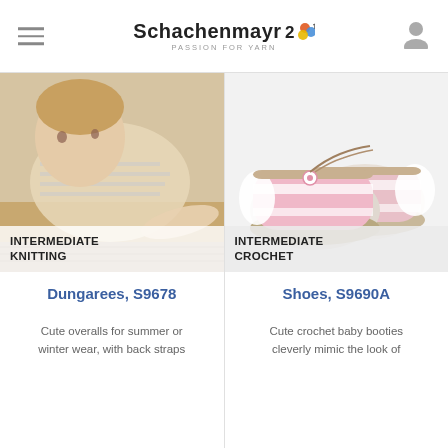Schachenmayr — PASSION FOR YARN
[Figure (photo): Baby crawling on floor wearing striped shirt and overalls, with knitted item visible in foreground. Badge overlay reads INTERMEDIATE KNITTING.]
INTERMEDIATE
KNITTING
Dungarees, S9678
Cute overalls for summer or winter wear, with back straps
[Figure (photo): Pink and white crocheted baby booties/shoes with decorative button and twine lace, on white background. Badge overlay reads INTERMEDIATE CROCHET.]
INTERMEDIATE
CROCHET
Shoes, S9690A
Cute crochet baby booties cleverly mimic the look of